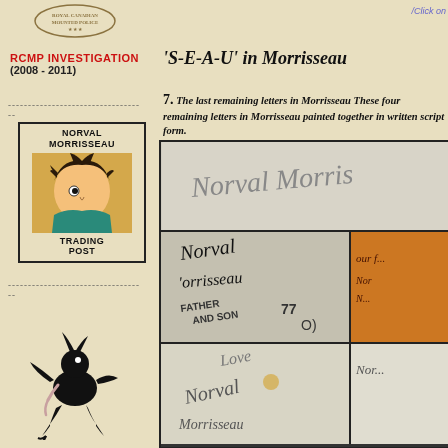[Figure (logo): RCMP crest/badge logo at top of left column]
RCMP INVESTIGATION
(2008 - 2011)
-----------------------------------
[Figure (illustration): Norval Morrisseau Trading Post box with portrait illustration of Morrisseau]
-----------------------------------
[Figure (illustration): Black creature/figure illustration in Morrisseau style]
/Click on
'S-E-A-U' in Morrisseau
7. The last remaining letters in Morrisseau These four remaining letters in Morrisseau painted together in written script form.
[Figure (photo): Grid of handwriting/signature samples showing Norval Morrisseau signatures in various styles. Top panel shows cursive 'Norval Morris...' signature. Middle left shows dark ink signatures including 'Norval', 'Morrisseau' and 'FATHER AND SON 77'. Middle right shows orange/amber background with partial text. Bottom left shows cursive text including 'Love', 'Norval', 'Morrisseau'. Bottom right shows partial handwriting.]